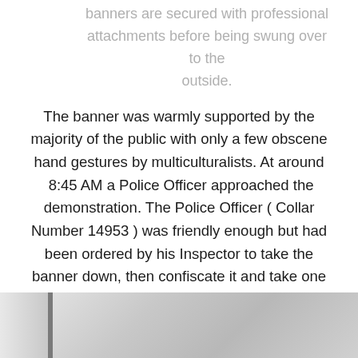banners are secured with professional attachments before being swung over to the outside.
The banner was warmly supported by the majority of the public with only a few obscene hand gestures by multiculturalists. At around  8:45 AM a Police Officer approached the demonstration. The Police Officer ( Collar Number 14953 ) was friendly enough but had been ordered by his Inspector to take the banner down, then confiscate it and take one demonstrator’s name and details under Section 5 Public Order Act. We’re not sure about his understanding of the legal position here regarding Electoral Law and the Public Order Act.
[Figure (photo): Partial photo visible at the bottom of the page, showing what appears to be a light grey or metallic surface with a dark vertical divider on the left side.]